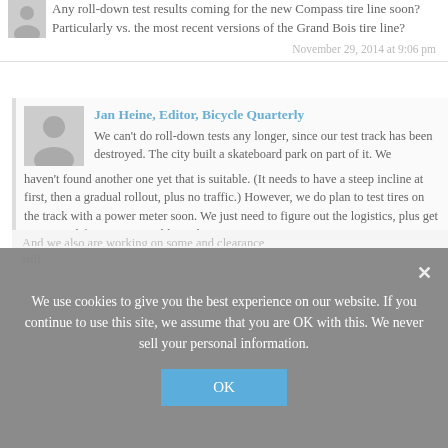Any roll-down test results coming for the new Compass tire line soon? Particularly vs. the most recent versions of the Grand Bois tire line?
November 29, 2014 at 9:06 pm
Jan Heine, Editor, Bicycle Quarterly
We can't do roll-down tests any longer, since our test track has been destroyed. The city built a skateboard park on part of it. We haven't found another one yet that is suitable. (It needs to have a steep incline at first, then a gradual rollout, plus no traffic.) However, we do plan to test tires on the track with a power meter soon. We just need to figure out the logistics, plus get some wind-free, not-too-cold weather.
We use cookies to give you the best experience on our website. If you continue to use this site, we assume that you are OK with this. We never sell your personal information.
OK